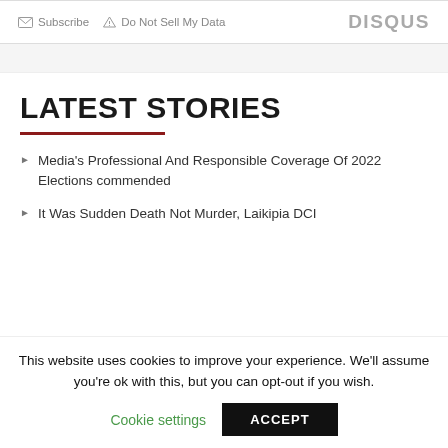Subscribe  Do Not Sell My Data  DISQUS
LATEST STORIES
Media's Professional And Responsible Coverage Of 2022 Elections commended
It Was Sudden Death Not Murder, Laikipia DCI
This website uses cookies to improve your experience. We'll assume you're ok with this, but you can opt-out if you wish.
Cookie settings  ACCEPT